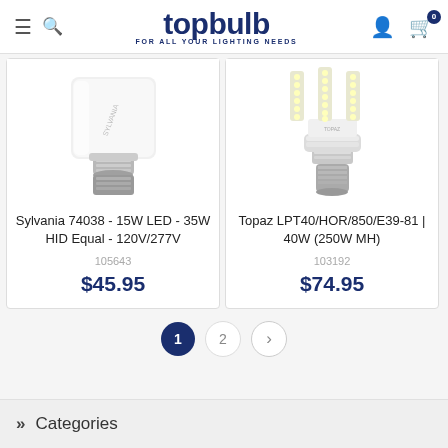topbulb | FOR ALL YOUR LIGHTING NEEDS
[Figure (photo): Sylvania 74038 LED corn bulb with E26 base, white plastic body, angled view on white background]
Sylvania 74038 - 15W LED - 35W HID Equal - 120V/277V
105643
$45.95
[Figure (photo): Topaz LPT40 LED corn bulb with E39 mogul base, exposed LED strips, silver base collar, on white background]
Topaz LPT40/HOR/850/E39-81 | 40W (250W MH)
103192
$74.95
1  2  >
» Categories